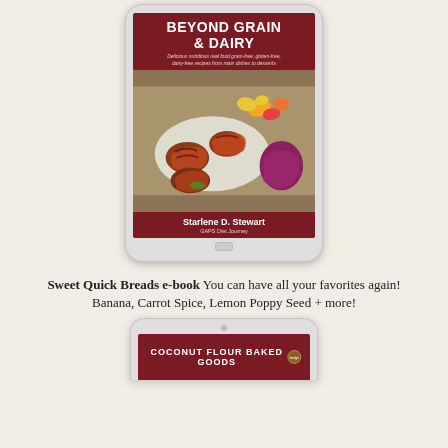[Figure (illustration): iPad/tablet device displaying the book cover of 'Beyond Grain & Dairy' by Starlene D. Stewart. The cover features a dark red/maroon header with the title in bold white text, a food photograph showing bacon-wrapped items on a plate with colorful peppers, and the author name and 'GAPS Diet Journey' in the maroon footer.]
Sweet Quick Breads e-book You can have all your favorites again! Banana, Carrot Spice, Lemon Poppy Seed + more!
[Figure (illustration): Partial view of a second iPad/tablet device showing the top portion of a book cover with 'COCONUT FLOUR BAKED GOODS' in white text on a dark maroon background, with a circular badge/logo on the right.]